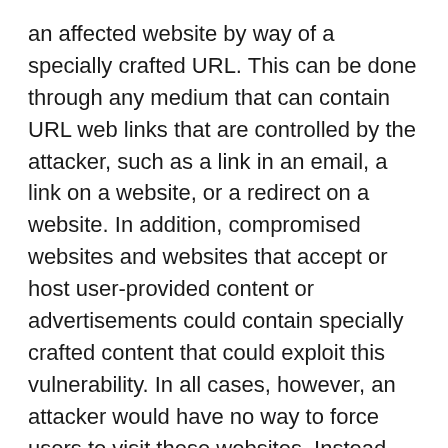an affected website by way of a specially crafted URL. This can be done through any medium that can contain URL web links that are controlled by the attacker, such as a link in an email, a link on a website, or a redirect on a website. In addition, compromised websites and websites that accept or host user-provided content or advertisements could contain specially crafted content that could exploit this vulnerability. In all cases, however, an attacker would have no way to force users to visit these websites. Instead, an attacker would have to convince users to visit the website, typically by getting them to click a link in an email message or Instant Messenger message that takes users to the affected website by way of a specially crafted URL. **What systems are primarily at risk from the vulnerability?** System Center Configuration Manager servers with users who are authorized to access the System Center Configuration Manager Admin UI are primarily at risk. **What does the update do?** This update modifies the way that System